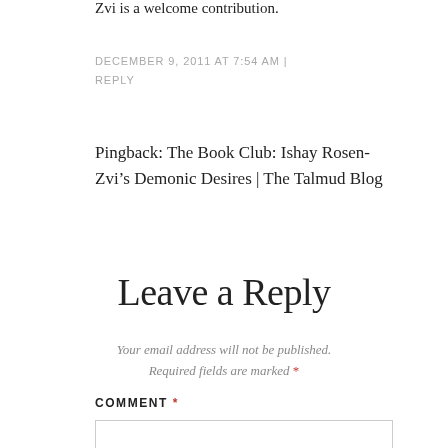Zvi is a welcome contribution.
DECEMBER 9, 2011 AT 7:54 AM | REPLY
Pingback: The Book Club: Ishay Rosen-Zvi’s Demonic Desires | The Talmud Blog
Leave a Reply
Your email address will not be published. Required fields are marked *
COMMENT *